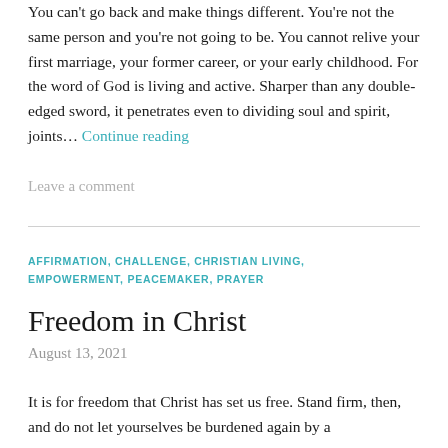You can't go back and make things different. You're not the same person and you're not going to be. You cannot relive your first marriage, your former career, or your early childhood. For the word of God is living and active. Sharper than any double-edged sword, it penetrates even to dividing soul and spirit, joints… Continue reading
Leave a comment
AFFIRMATION, CHALLENGE, CHRISTIAN LIVING, EMPOWERMENT, PEACEMAKER, PRAYER
Freedom in Christ
August 13, 2021
It is for freedom that Christ has set us free. Stand firm, then, and do not let yourselves be burdened again by a